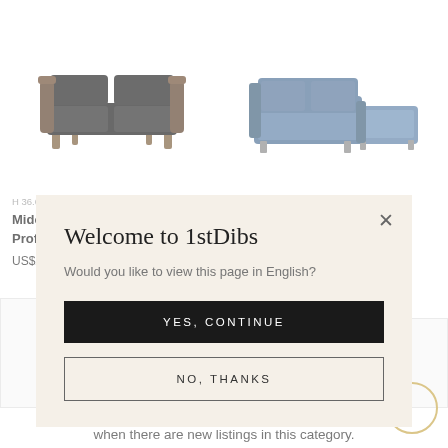[Figure (screenshot): Product listing page showing two sofas. Left: Midcentury Leather Sofa by Profilia Werke. Right: Sitzfeldt modular sofa set in blue.]
H 36.62 in. W 66.15 in. D 36.62 in.
Midcentury Leather Sofa Profilia Werke, Sergio...
US$2,031
H 31.5 in. W 63 in. D 31.5 in.
Sitzfeldt, Set, a Modular Sofa and Ottoman
US$1,625 / set
[Figure (screenshot): Modal dialog box with beige background. Title: Welcome to 1stDibs. Question: Would you like to view this page in English? Two buttons: YES, CONTINUE (black) and NO, THANKS (outlined).]
Welcome to 1stDibs
Would you like to view this page in English?
YES, CONTINUE
NO, THANKS
when there are new listings in this category.